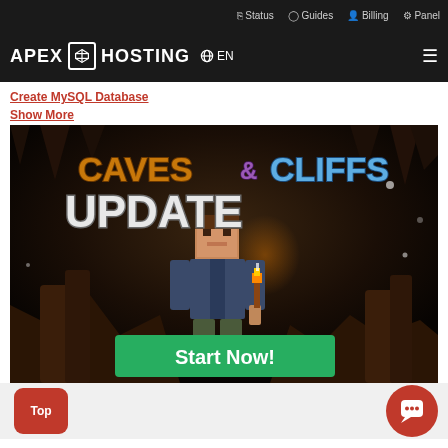Status  Guides  Billing  Panel
[Figure (logo): Apex Hosting logo with cube icon, EN language selector, and hamburger menu on dark background]
Create MySQL Database
Show More
[Figure (screenshot): Caves & Cliffs Update promotional image with Minecraft character in cave, green Start Now! button at bottom]